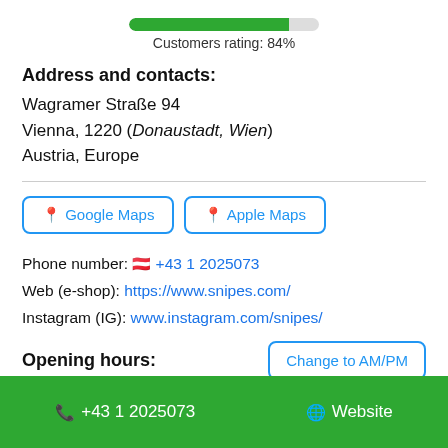[Figure (other): Green progress bar showing 84% customer rating with label 'Customers rating: 84%']
Address and contacts:
Wagramer Straße 94
Vienna, 1220 (Donaustadt, Wien)
Austria, Europe
Google Maps | Apple Maps (map buttons)
Phone number: 🇦🇹 +43 1 2025073
Web (e-shop): https://www.snipes.com/
Instagram (IG): www.instagram.com/snipes/
Opening hours:
Change to AM/PM (button)
📞 +43 1 2025073   🌐 Website